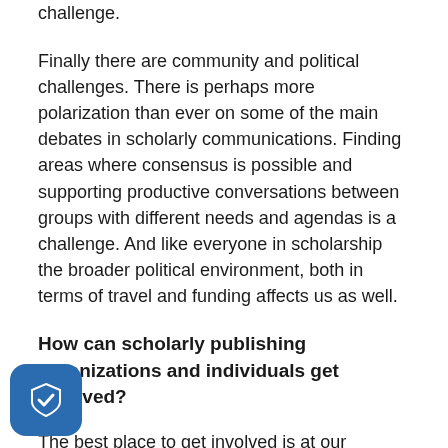challenge.
Finally there are community and political challenges. There is perhaps more polarization than ever on some of the main debates in scholarly communications. Finding areas where consensus is possible and supporting productive conversations between groups with different needs and agendas is a challenge. And like everyone in scholarship the broader political environment, both in terms of travel and funding affects us as well.
How can scholarly publishing organizations and individuals get involved?
The best place to get involved is at our meetings or within Working Groups and projects. As we’ve said, the first CE11 Scholarly Communications Institute will be held at D 31 July – 4 August. This is an exciting program which should be of interest to all Scholarly Kitchen readers. Our main